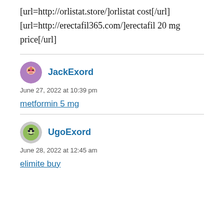[url=http://orlistat.store/]orlistat cost[/url] [url=http://erectafil365.com/]erectafil 20 mg price[/url]
JackExord
June 27, 2022 at 10:39 pm
metformin 5 mg
UgoExord
June 28, 2022 at 12:45 am
elimite buy